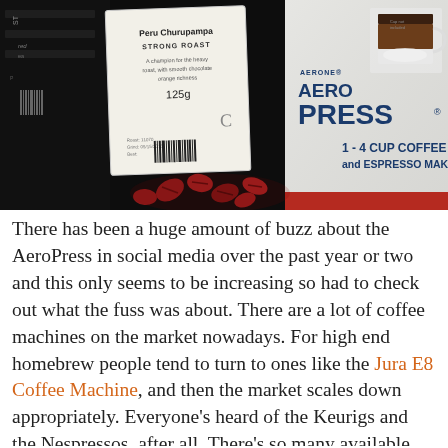[Figure (photo): A photo showing a coffee product label for 'Peru Churupampa Strong Roast 125g' and an AeroPress 1-4 Cup Coffee and Espresso Maker box, with scattered red coffee beans in the foreground against a dark background.]
There has been a huge amount of buzz about the AeroPress in social media over the past year or two and this only seems to be increasing so had to check out what the fuss was about. There are a lot of coffee machines on the market nowadays. For high end homebrew people tend to turn to ones like the Jura E8 Coffee Machine, and then the market scales down appropriately. Everyone's heard of the Keurigs and the Nespressos, after all. There's so many available. Such a saturated